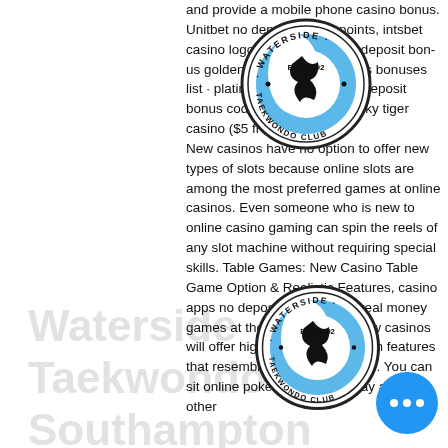[Figure (logo): Waterside Taekwondo Club circular logo with EST. 1992, showing a taekwondo kick silhouette and blue crescent/globe design]
and provide a mobile phone casino bonus. Unitbet no deposit bonus points, intsbet casino logo points, ntsbet no deposit bonus golden. Best mobile casinos bonuses list · platinum reels casino no deposit bonus code 75 free spins · lucky tiger casino ($5 free New casinos have no option to offer new types of slots because online slots are among the most preferred games at online casinos. Even someone who is new to online casino gaming can spin the reels of any slot machine without requiring special skills. Table Games: New Casino Table Game Options & Realistic Features, casino apps no deposit love playing real money games at the tables, top UK new casinos will offer highly realistic titles with features that resemble real casino tables. You can sit at online poker tables, and play against other
[Figure (logo): Waterside Taekwondo Club circular logo (second instance, lower on page)]
[Figure (other): Grey hamburger menu button icon]
[Figure (other): Blue circular chat/messenger button with three white dots]